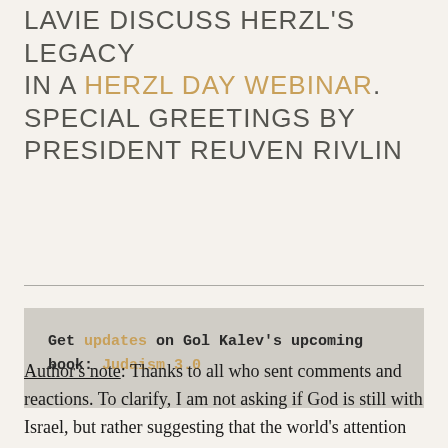LAVIE DISCUSS HERZL'S LEGACY IN A HERZL DAY WEBINAR. SPECIAL GREETINGS BY PRESIDENT REUVEN RIVLIN
Get updates on Gol Kalev's upcoming book: Judaism 3.0
Author's note: Thanks to all who sent comments and reactions. To clarify, I am not asking if God is still with Israel, but rather suggesting that the world's attention on this question is part the